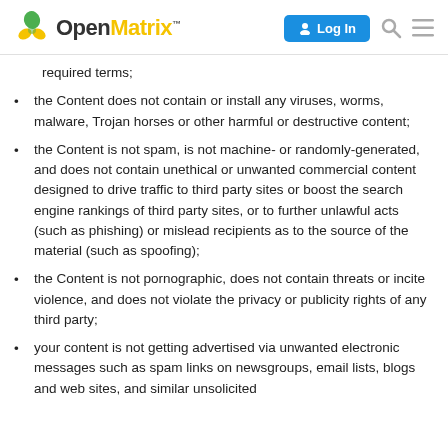OpenMatrix — Log In
required terms;
the Content does not contain or install any viruses, worms, malware, Trojan horses or other harmful or destructive content;
the Content is not spam, is not machine- or randomly-generated, and does not contain unethical or unwanted commercial content designed to drive traffic to third party sites or boost the search engine rankings of third party sites, or to further unlawful acts (such as phishing) or mislead recipients as to the source of the material (such as spoofing);
the Content is not pornographic, does not contain threats or incite violence, and does not violate the privacy or publicity rights of any third party;
your content is not getting advertised via unwanted electronic messages such as spam links on newsgroups, email lists, blogs and web sites, and similar unsolicited